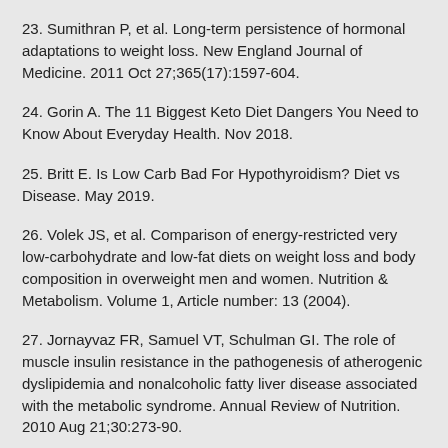23. Sumithran P, et al. Long-term persistence of hormonal adaptations to weight loss. New England Journal of Medicine. 2011 Oct 27;365(17):1597-604.
24. Gorin A. The 11 Biggest Keto Diet Dangers You Need to Know About Everyday Health. Nov 2018.
25. Britt E. Is Low Carb Bad For Hypothyroidism? Diet vs Disease. May 2019.
26. Volek JS, et al. Comparison of energy-restricted very low-carbohydrate and low-fat diets on weight loss and body composition in overweight men and women. Nutrition & Metabolism. Volume 1, Article number: 13 (2004).
27. Jornayvaz FR, Samuel VT, Schulman GI. The role of muscle insulin resistance in the pathogenesis of atherogenic dyslipidemia and nonalcoholic fatty liver disease associated with the metabolic syndrome. Annual Review of Nutrition. 2010 Aug 21;30:273-90.